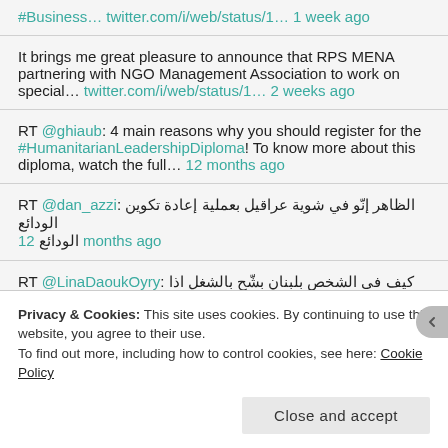#Business… twitter.com/i/web/status/1… 1 week ago
It brings me great pleasure to announce that RPS MENA partnering with NGO Management Association to work on special… twitter.com/i/web/status/1… 2 weeks ago
RT @ghiaub: 4 main reasons why you should register for the #HumanitarianLeadershipDiploma! To know more about this diploma, watch the full… 12 months ago
RT @dan_azzi: الظاهر إنّو في شوية عراقيل بعملية إعادة تكوين الودائع 12 months ago
RT @LinaDaoukOyry: كيف في الشخص بلبنان بشّح بالشغل اذا كل
Privacy & Cookies: This site uses cookies. By continuing to use this website, you agree to their use.
To find out more, including how to control cookies, see here: Cookie Policy
Close and accept